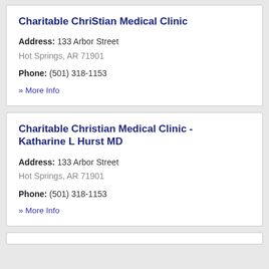Charitable ChriStian Medical Clinic
Address: 133 Arbor Street
Hot Springs, AR 71901
Phone: (501) 318-1153
» More Info
Charitable Christian Medical Clinic - Katharine L Hurst MD
Address: 133 Arbor Street
Hot Springs, AR 71901
Phone: (501) 318-1153
» More Info